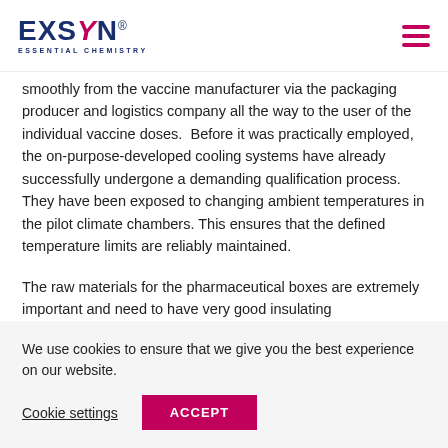EXSYN® ESSENTIAL CHEMISTRY
smoothly from the vaccine manufacturer via the packaging producer and logistics company all the way to the user of the individual vaccine doses. Before it was practically employed, the on-purpose-developed cooling systems have already successfully undergone a demanding qualification process. They have been exposed to changing ambient temperatures in the pilot climate chambers. This ensures that the defined temperature limits are reliably maintained.
The raw materials for the pharmaceutical boxes are extremely important and need to have very good insulating
We use cookies to ensure that we give you the best experience on our website.
Cookie settings   ACCEPT